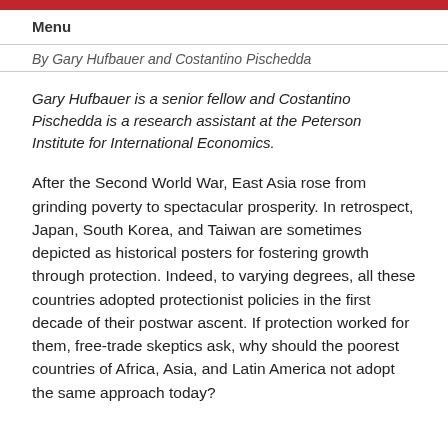Menu
By Gary Hufbauer and Costantino Pischedda
Gary Hufbauer is a senior fellow and Costantino Pischedda is a research assistant at the Peterson Institute for International Economics.
After the Second World War, East Asia rose from grinding poverty to spectacular prosperity. In retrospect, Japan, South Korea, and Taiwan are sometimes depicted as historical posters for fostering growth through protection. Indeed, to varying degrees, all these countries adopted protectionist policies in the first decade of their postwar ascent. If protection worked for them, free-trade skeptics ask, why should the poorest countries of Africa, Asia, and Latin America not adopt the same approach today?